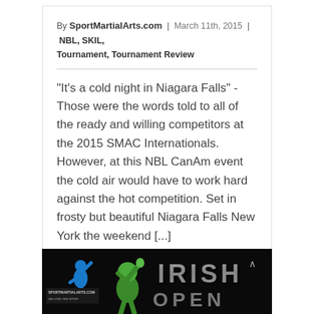By SportMartialArts.com | March 11th, 2015 | NBL, SKIL, Tournament, Tournament Review
"It's a cold night in Niagara Falls" - Those were the words told to all of the ready and willing competitors at the 2015 SMAC Internationals. However, at this NBL CanAm event the cold air would have to work hard against the hot competition. Set in frosty but beautiful Niagara Falls New York the weekend [...]
Read More ›
Comments Off
[Figure (illustration): Irish Open banner with dark background, blue martial arts silhouette figure on left, green cartoon fighter character in center, and large metallic 'IRISH OPEN' text on right. SportMartialArts.com logo in top-left corner.]